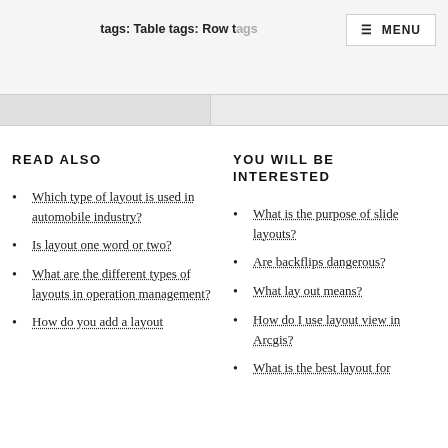tags: Table tags: Row tags
READ ALSO
Which type of layout is used in automobile industry?
Is layout one word or two?
What are the different types of layouts in operation management?
How do you add a layout
YOU WILL BE INTERESTED
What is the purpose of slide layouts?
Are backflips dangerous?
What lay out means?
How do I use layout view in Arcgis?
What is the best layout for